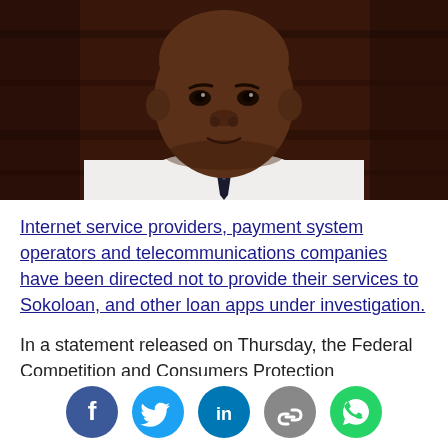[Figure (photo): Portrait photo of a man in a white shirt and dark tie, seated against a dark wooden background]
Internet service providers, payment system operators and telecommunications companies have been directed not to provide their services to Sokoloan, and other loan apps under investigation.
In a statement released on Thursday, the Federal Competition and Consumers Protection Commission (FCCPC) mentioned Flutterwave, Opay, Paystack and